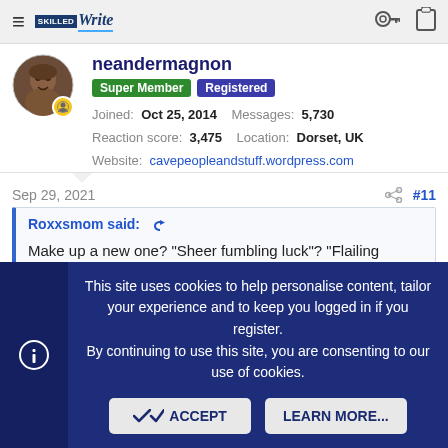≡  [logo] Write   🔑  📋
neandermagnon
Super Member  Registered
Joined: Oct 25, 2014  Messages: 5,730
Reaction score: 3,475  Location: Dorset, UK
Website: cavepeopleandstuff.wordpress.com
Sep 29, 2021   #11
Roxxsmom said: ↺

Make up a new one? "Sheer fumbling luck"? "Flailing luck"?
This site uses cookies to help personalise content, tailor your experience and to keep you logged in if you register. By continuing to use this site, you are consenting to our use of cookies.

ACCEPT   LEARN MORE...